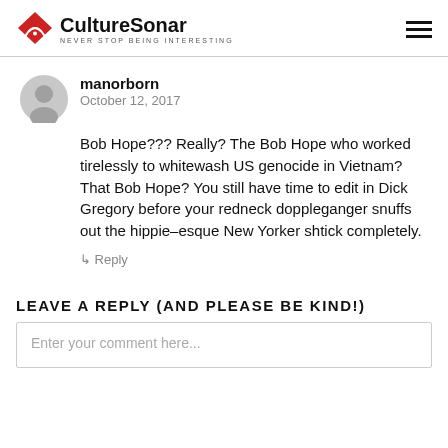CultureSonar — NEVER STOP BEING INTERESTING
manorborn
October 12, 2017
Bob Hope??? Really? The Bob Hope who worked tirelessly to whitewash US genocide in Vietnam? That Bob Hope? You still have time to edit in Dick Gregory before your redneck doppleganger snuffs out the hippie–esque New Yorker shtick completely.
↳ Reply
LEAVE A REPLY (AND PLEASE BE KIND!)
Enter your comment here...